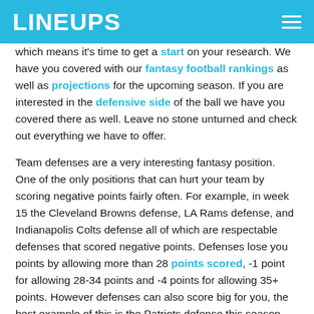LINEUPS
which means it's time to get a start on your research. We have you covered with our fantasy football rankings as well as projections for the upcoming season. If you are interested in the defensive side of the ball we have you covered there as well. Leave no stone unturned and check out everything we have to offer.
Team defenses are a very interesting fantasy position. One of the only positions that can hurt your team by scoring negative points fairly often. For example, in week 15 the Cleveland Browns defense, LA Rams defense, and Indianapolis Colts defense all of which are respectable defenses that scored negative points. Defenses lose you points by allowing more than 28 points scored, -1 point for allowing 28-34 points and -4 points for allowing 35+ points. However defenses can also score big for you, the best example of this is the Patriots defense this season. Averaging 15.5 fantasy points per week, scoring points through sacks,